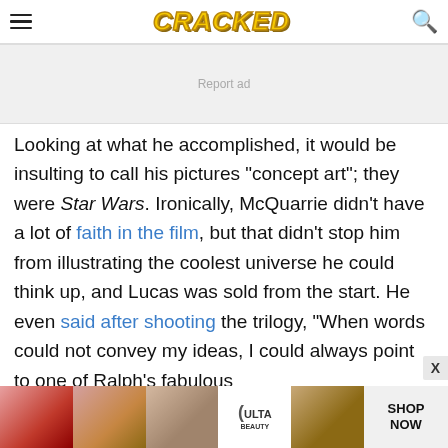CRACKED
[Figure (other): Advertisement banner placeholder showing 'Report ad']
Looking at what he accomplished, it would be insulting to call his pictures "concept art"; they were Star Wars. Ironically, McQuarrie didn't have a lot of faith in the film, but that didn't stop him from illustrating the coolest universe he could think up, and Lucas was sold from the start. He even said after shooting the trilogy, "When words could not convey my ideas, I could always point to one of Ralph's fabulous
[Figure (other): ULTA Beauty advertisement banner showing makeup images and 'SHOP NOW' text]